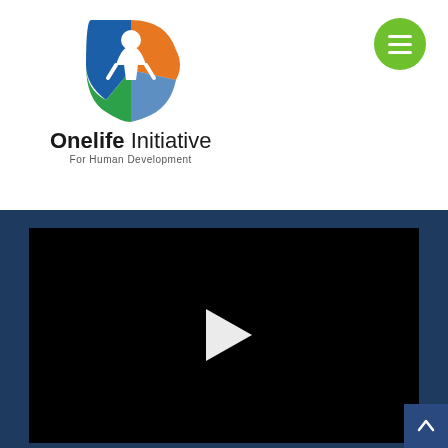[Figure (logo): Onelife Initiative For Human Development logo — colorful figure icon with green, blue, and orange segments above the organization name]
[Figure (screenshot): Video player with black background and white play button triangle in the center, embedded in a dark navy blue section]